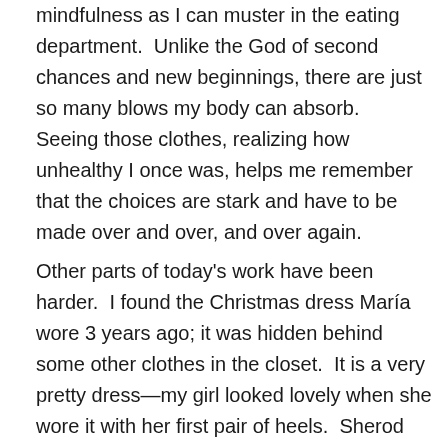mindfulness as I can muster in the eating department.  Unlike the God of second chances and new beginnings, there are just so many blows my body can absorb.  Seeing those clothes, realizing how unhealthy I once was, helps me remember that the choices are stark and have to be made over and over, and over again.
Other parts of today's work have been harder.  I found the Christmas dress María wore 3 years ago; it was hidden behind some other clothes in the closet.  It is a very pretty dress—my girl looked lovely when she wore it with her first pair of heels.  Sherod and I simply  touched and looked at the dress for a while this morning.  We had a game going in those years:  if she wears a pretty dress, she will be happy and things will be better.  If we learn something new, if we say something different, if we try this other program, things will change, she'll understand, she will